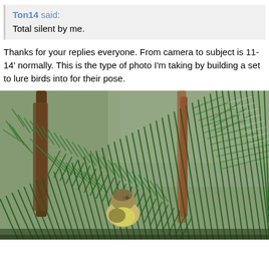Ton14 said:
Total silent by me.
Thanks for your replies everyone. From camera to subject is 11-14' normally. This is the type of photo I'm taking by building a set to lure birds into for their pose.
[Figure (photo): Close-up photograph of a small yellow-green bird perched among dense green pine or conifer needles, with blurred brown branches and a soft grey-green background.]